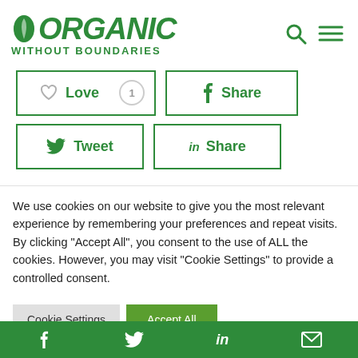ORGANIC WITHOUT BOUNDARIES
[Figure (screenshot): Social sharing buttons: Love (with count 1), Share (Facebook), Tweet (Twitter), Share (LinkedIn)]
We use cookies on our website to give you the most relevant experience by remembering your preferences and repeat visits. By clicking "Accept All", you consent to the use of ALL the cookies. However, you may visit "Cookie Settings" to provide a controlled consent.
[Figure (screenshot): Cookie consent buttons: Cookie Settings (gray) and Accept All (green)]
Social links bar: Facebook, Twitter, LinkedIn, Email